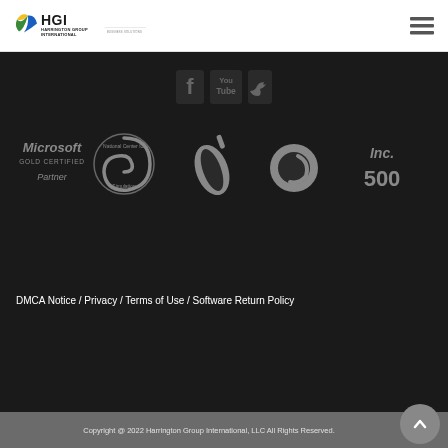[Figure (logo): HGI Harrington Group International Business Solutions logo with green/yellow leaf and blue text]
[Figure (logo): Hamburger menu icon (three horizontal lines)]
[Figure (logo): Social media icons: Facebook (f), YouTube, Twitter bird — all in dark grey on black background]
[Figure (logo): Partner logos row: Microsoft Gold Certified Partner, National Center for Simulation circular logo, paint brush icon, globe/satellite dish icon, Inc. 500]
DMCA Notice / Privacy / Terms of Use / Software Return Policy
Copyright @ 2022 Harrington Group International, LLC All Rights Reserved.